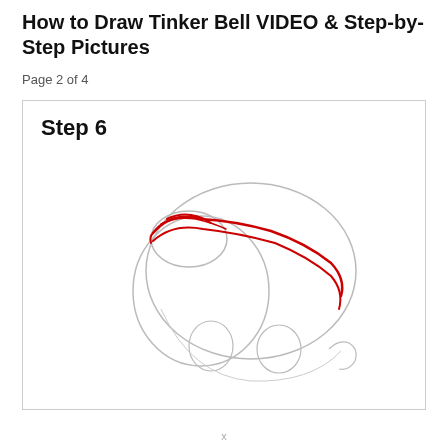How to Draw Tinker Bell VIDEO & Step-by-Step Pictures
Page 2 of 4
[Figure (illustration): Step 6 drawing tutorial illustration showing a sketch of Tinker Bell's head from a three-quarter view. The sketch shows basic circular head shapes, eye guide circles, and a red curved line indicating the hairline/bun area being drawn in this step.]
x